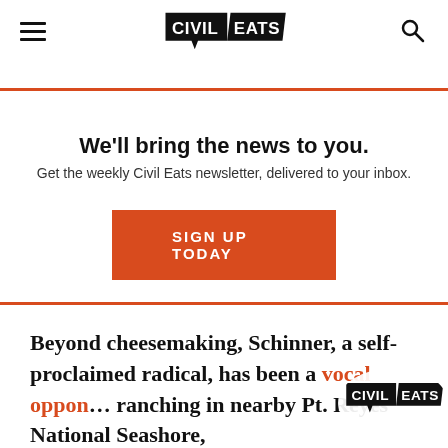Civil Eats
We'll bring the news to you.
Get the weekly Civil Eats newsletter, delivered to your inbox.
SIGN UP TODAY
Beyond cheesemaking, Schinner, a self-proclaimed radical, has been a vocal oppon… ranching in nearby Pt. Reyes National Seashore,